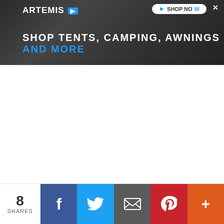[Figure (screenshot): Advertisement banner for Artemis outdoor gear — dark rocky background with text 'SHOP TENTS, CAMPING, AWNINGS AND MORE', Artemis logo top left, 'SHOP NOW' button top right, close button]
[Figure (screenshot): Partial social sharing toolbar with collapse arrow button, Facebook (dark blue), Twitter (light blue), Pinterest (red), LinkedIn (blue) buttons]
[Figure (screenshot): Bottom social sharing bar showing '8 SHARES' count, Facebook, Twitter, email, Pinterest, and more (+) share buttons]
8 SHARES